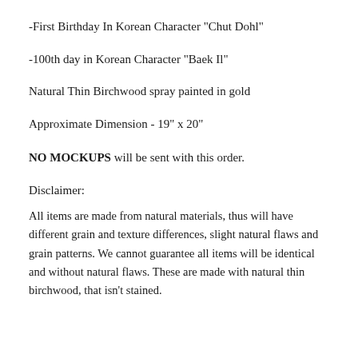-First Birthday In Korean Character "Chut Dohl"
-100th day in Korean Character "Baek Il"
Natural Thin Birchwood spray painted in gold
Approximate Dimension - 19" x 20"
NO MOCKUPS will be sent with this order.
Disclaimer:
All items are made from natural materials, thus will have different grain and texture differences, slight natural flaws and grain patterns. We cannot guarantee all items will be identical and without natural flaws. These are made with natural thin birchwood, that isn't stained.